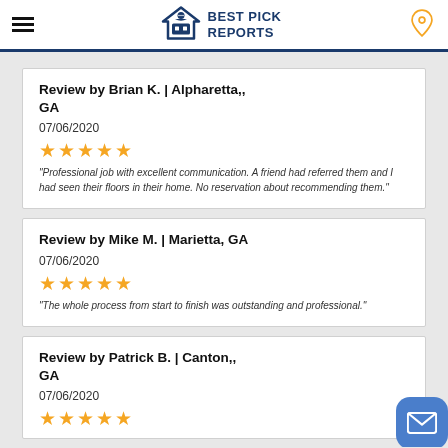Best Pick Reports
Review by Brian K. | Alpharetta,, GA
07/06/2020
[Figure (other): 5 orange stars rating]
"Professional job with excellent communication. A friend had referred them and I had seen their floors in their home. No reservation about recommending them."
Review by Mike M. | Marietta, GA
07/06/2020
[Figure (other): 5 orange stars rating]
"The whole process from start to finish was outstanding and professional."
Review by Patrick B. | Canton,, GA
07/06/2020
[Figure (other): 5 orange stars rating (partially visible)]